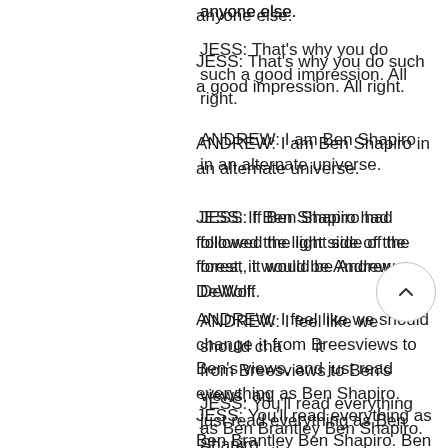anyone else.
JESS: That's why you do such a good impression. All right.
ANDREW: I am Ben Shapiro in an alternate universe.
JESS: If Ben Shapiro had followed the light side of the forest, it would be Andrew DeWolf.
ANDREW: I feel like we should change from Breesviews to Ben's views, and just read everything as Ben Shapiro.
JESS: You'll read everything as Ben Brantley Ben Shapiro. Ben Brantley Shapiro. Alright, you'll re-present ti...